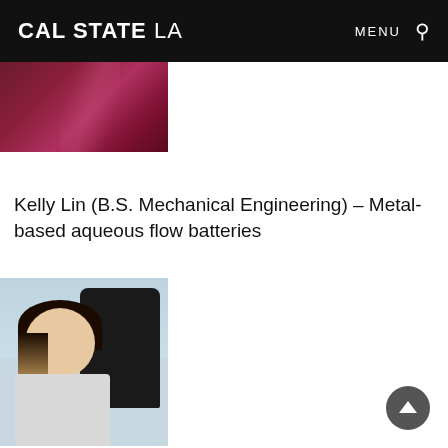CAL STATE LA | MENU
[Figure (photo): Partial cropped image of dark maroon/burgundy fabric or clothing]
Kelly Lin (B.S. Mechanical Engineering) – Metal-based aqueous flow batteries
[Figure (photo): Portrait photo of Kelly Lin, a young woman with long blonde-highlighted hair, wearing a light grey top, smiling, with a light blue sky background]